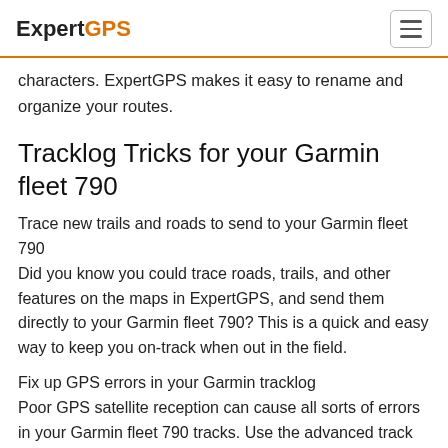ExpertGPS
characters. ExpertGPS makes it easy to rename and organize your routes.
Tracklog Tricks for your Garmin fleet 790
Trace new trails and roads to send to your Garmin fleet 790
Did you know you could trace roads, trails, and other features on the maps in ExpertGPS, and send them directly to your Garmin fleet 790? This is a quick and easy way to keep you on-track when out in the field.
Fix up GPS errors in your Garmin tracklog
Poor GPS satellite reception can cause all sorts of errors in your Garmin fleet 790 tracks. Use the advanced track editing tools in ExpertGPS to correct spikes and blips